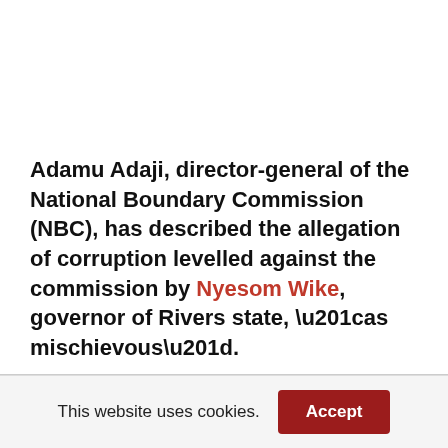Adamu Adaji, director-general of the National Boundary Commission (NBC), has described the allegation of corruption levelled against the commission by Nyesom Wike, governor of Rivers state, “as mischievous”.
Commenting after the supreme court judgment in
This website uses cookies.